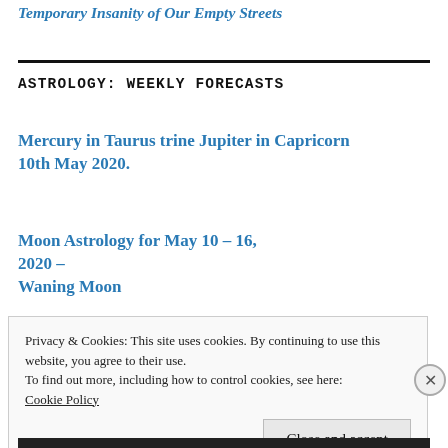Temporary Insanity of Our Empty Streets
ASTROLOGY: WEEKLY FORECASTS
Mercury in Taurus trine Jupiter in Capricorn 10th May 2020.
Moon Astrology for May 10 – 16, 2020 – Waning Moon
Privacy & Cookies: This site uses cookies. By continuing to use this website, you agree to their use.
To find out more, including how to control cookies, see here:
Cookie Policy

Close and accept